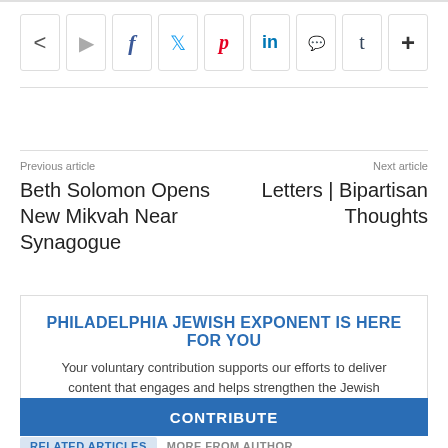[Figure (other): Social sharing buttons bar: share icon, forward arrow, Facebook (f), Twitter (bird), Pinterest (P), LinkedIn (in), Reddit (alien), Tumblr (t), plus (+)]
Previous article
Beth Solomon Opens New Mikvah Near Synagogue
Next article
Letters | Bipartisan Thoughts
PHILADELPHIA JEWISH EXPONENT IS HERE FOR YOU
Your voluntary contribution supports our efforts to deliver content that engages and helps strengthen the Jewish community in the Philadelphia area.
CONTRIBUTE
RELATED ARTICLES   MORE FROM AUTHOR